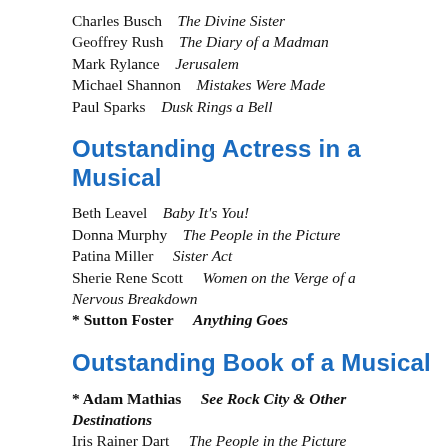Charles Busch    The Divine Sister
Geoffrey Rush    The Diary of a Madman
Mark Rylance    Jerusalem
Michael Shannon    Mistakes Were Made
Paul Sparks    Dusk Rings a Bell
Outstanding Actress in a Musical
Beth Leavel    Baby It's You!
Donna Murphy    The People in the Picture
Patina Miller    Sister Act
Sherie Rene Scott    Women on the Verge of a Nervous Breakdown
* Sutton Foster    Anything Goes
Outstanding Book of a Musical
* Adam Mathias    See Rock City & Other Destinations
Iris Rainer Dart    The People in the Picture